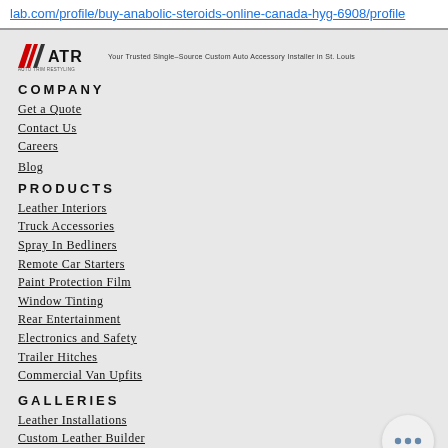lab.com/profile/buy-anabolic-steroids-online-canada-hyg-6908/profile
[Figure (logo): ATR Auto Trim Restyling logo with red chevron stripes and tagline: Your Trusted Single-Source Custom Auto Accessory Installer in St. Louis]
COMPANY
Get a Quote
Contact Us
Careers
Blog
PRODUCTS
Leather Interiors
Truck Accessories
Spray In Bedliners
Remote Car Starters
Paint Protection Film
Window Tinting
Rear Entertainment
Electronics and Safety
Trailer Hitches
Commercial Van Upfits
GALLERIES
Leather Installations
Custom Leather Builder
Bedliner Installations